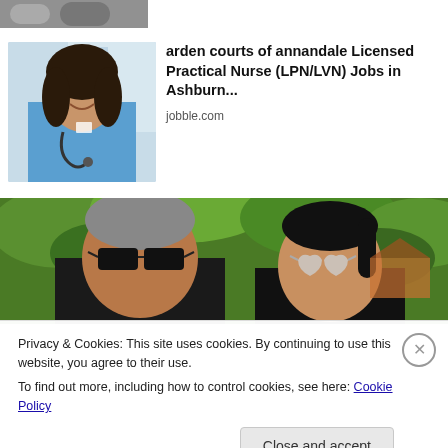[Figure (photo): Partial view of a photo at the top of the page, appears to be a group of people in black and white]
[Figure (photo): Photo of a smiling female nurse in blue scrubs with a stethoscope]
arden courts of annandale Licensed Practical Nurse (LPN/LVN) Jobs in Ashburn...
jobble.com
[Figure (photo): Photo of two people wearing sunglasses outdoors with green trees/bushes in background]
Privacy & Cookies: This site uses cookies. By continuing to use this website, you agree to their use.
To find out more, including how to control cookies, see here: Cookie Policy
Close and accept